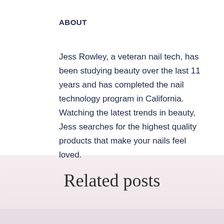ABOUT
Jess Rowley, a veteran nail tech, has been studying beauty over the last 11 years and has completed the nail technology program in California. Watching the latest trends in beauty, Jess searches for the highest quality products that make your nails feel loved.
Related posts